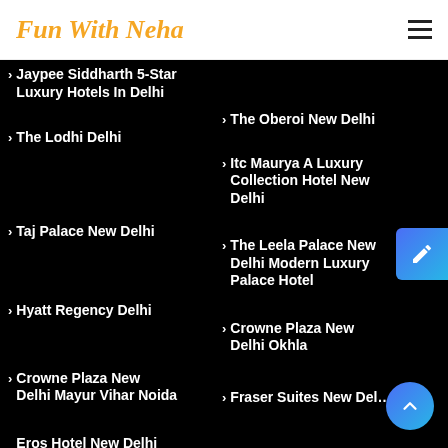Fun With Neha
Jaypee Siddharth 5-Star Luxury Hotels In Delhi
The Oberoi New Delhi
The Lodhi Delhi
Itc Maurya A Luxury Collection Hotel New Delhi
Taj Palace New Delhi
The Leela Palace New Delhi Modern Luxury Palace Hotel
Hyatt Regency Delhi
Crowne Plaza New Delhi Okhla
Crowne Plaza New Delhi Mayur Vihar Noida
Fraser Suites New Delhi
Eros Hotel New Delhi